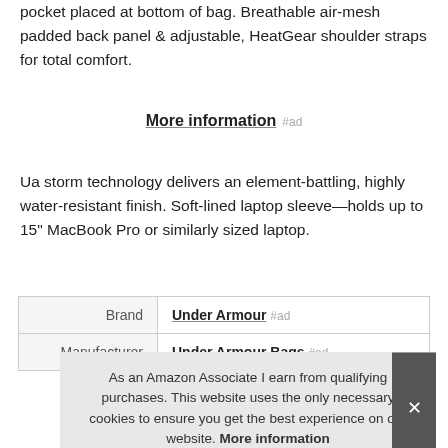pocket placed at bottom of bag. Breathable air-mesh padded back panel & adjustable, HeatGear shoulder straps for total comfort.
More information #ad
Ua storm technology delivers an element-battling, highly water-resistant finish. Soft-lined laptop sleeve—holds up to 15" MacBook Pro or similarly sized laptop.
|  |  |
| --- | --- |
| Brand | Under Armour #ad |
| Manufacturer | Under Armour Bags #ad |
As an Amazon Associate I earn from qualifying purchases. This website uses the only necessary cookies to ensure you get the best experience on our website. More information